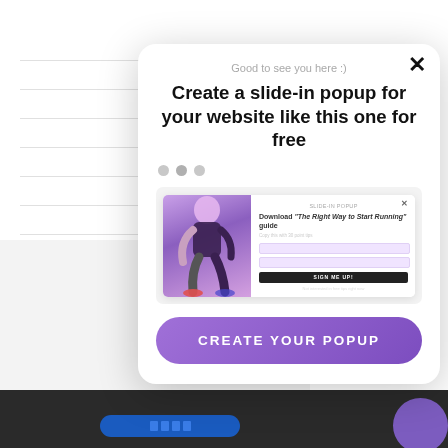[Figure (screenshot): Background website with horizontal lines and dark footer bar with blue button]
[Figure (screenshot): Popup modal overlay with close button, subtitle 'Good to see you here :)', bold title 'Create a slide-in popup for your website like this one for free', three dots navigation, a preview image of a fitness popup, and a purple CTA button]
Good to see you here :)
Create a slide-in popup for your website like this one for free
[Figure (screenshot): Preview of a slide-in popup showing a fitness person image on left and 'Download The Right Way to Start Running guide' form with name/email fields and SIGN ME UP button on right]
CREATE YOUR POPUP